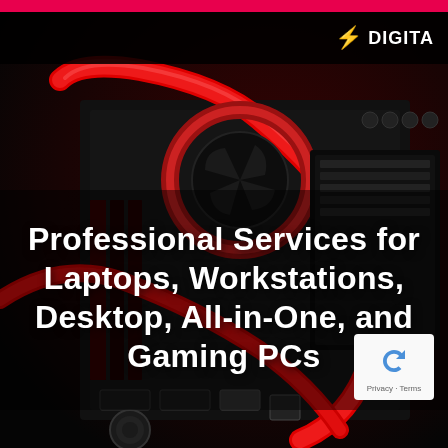[Figure (photo): Close-up photo of a gaming PC internal components with red liquid cooling tubes/hoses and black motherboard components on a dark background]
DIGITA
Professional Services for Laptops, Workstations, Desktop, All-in-One, and Gaming PCs
[Figure (logo): reCAPTCHA badge with blue circular arrow icon and Privacy - Terms links]